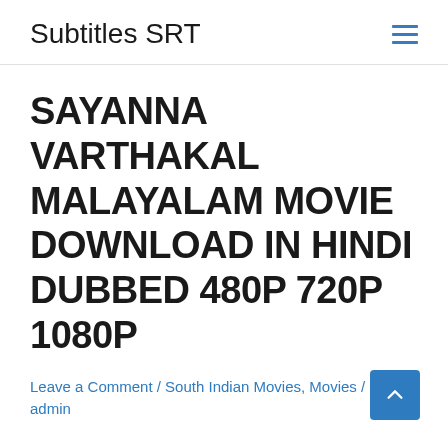Subtitles SRT
SAYANNA VARTHAKAL MALAYALAM MOVIE DOWNLOAD IN HINDI DUBBED 480P 720P 1080P
Leave a Comment / South Indian Movies, Movies / By admin
Advertisement